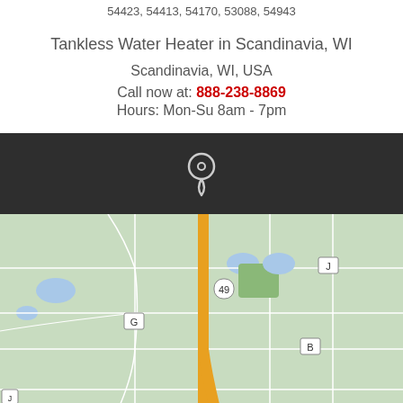54423, 54413, 54170, 53088, 54943
Tankless Water Heater in Scandinavia, WI
Scandinavia, WI, USA
Call now at: 888-238-8869
Hours: Mon-Su 8am - 7pm
[Figure (map): Dark background section with map pin icon above a Google Maps style map of Scandinavia, WI area showing routes 49, G, J, B and surrounding rural area]